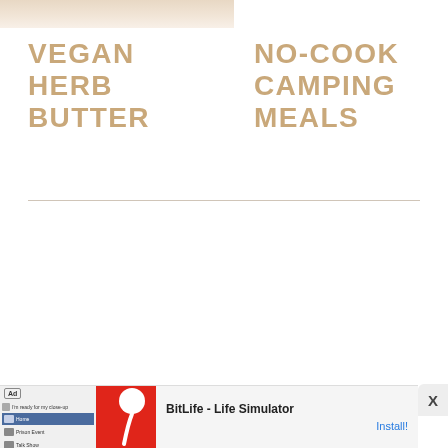[Figure (photo): Top portion of a food photo, partially visible at the top of the left column, showing light-colored items on a surface]
VEGAN HERB BUTTER
NO-COOK CAMPING MEALS
[Figure (infographic): Advertisement banner for BitLife - Life Simulator app, with red background showing app screenshots on left and BitLife sperm logo, plus install button on right]